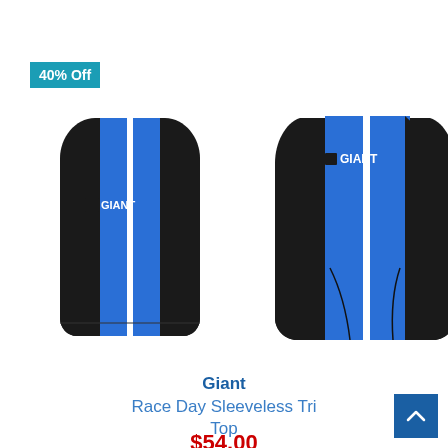[Figure (photo): Two views (front and back) of a Giant Race Day Sleeveless Tri Top. The jersey is black, blue, and white with the GIANT logo on the chest. A teal '40% Off' badge is in the upper left corner of the image.]
Giant
Race Day Sleeveless Tri Top
$54.00
$90.00